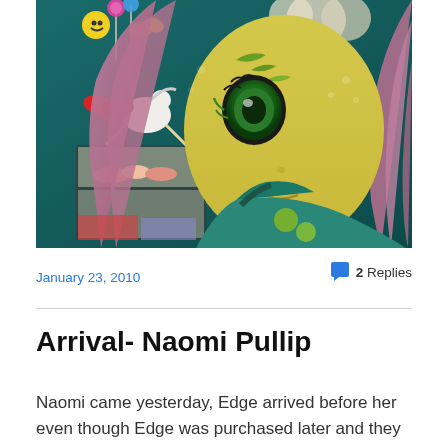[Figure (photo): Close-up photograph of a Pullip doll with yellow/green face makeup, large green eyes, and long wavy pink hair, wearing a teal patterned outfit. Background shows a bakery/candy shop scene with smiley face decorations, a rocking horse, and a display case with pastries.]
January 23, 2010
2 Replies
Arrival- Naomi Pullip
Naomi came yesterday, Edge arrived before her even though Edge was purchased later and they came from the